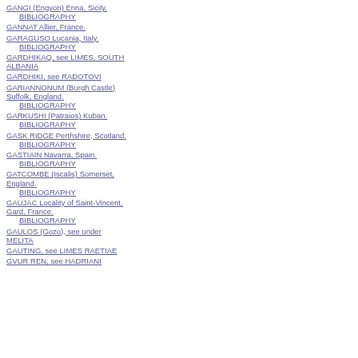GANGI (Engyon) Enna, Sicily.
    BIBLIOGRAPHY
GANNAT Allier, France.
GARAGUSO Lucania, Italy.
    BIBLIOGRAPHY
GARDHIKAQ, see LIMES, SOUTH ALBANIA
GARDHIKI, see RADOTOVI
GARIANNONUM (Burgh Castle) Suffolk, England.
    BIBLIOGRAPHY
GARKUSHI (Patraios) Kuban.
    BIBLIOGRAPHY
GASK RIDGE Perthshire, Scotland.
    BIBLIOGRAPHY
GASTIAIN Navarra, Spain.
    BIBLIOGRAPHY
GATCOMBE (Iscalis) Somerset, England.
    BIBLIOGRAPHY
GAUJAC Locality of Saint-Vincent, Gard, France.
    BIBLIOGRAPHY
GAULOS (Gozo), see under MELITA
GAUTING, see LIMES RAETIAE
GVUR REN, see HADRIANI